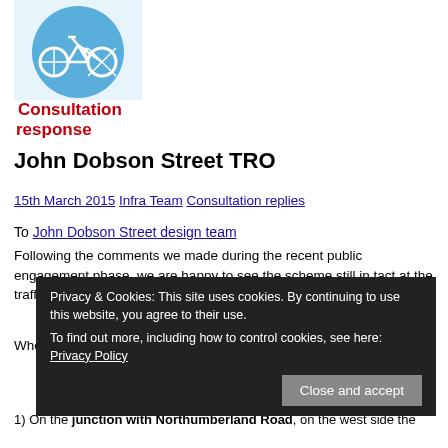[Figure (logo): Blue circle with white bicycle icon — Consultation response logo]
Consultation response
John Dobson Street TRO
15th March 2015 | Infra Team | Consultation replies
To John Dobson Street design team
Following the comments we made during the recent public engagement phase, we are happy to see the scheme still in tact at the traffic order stage.
When we last commented on the scheme we made a specific point a... R... a...
W
1) On the junction with Northumberland Road, on the west side the...